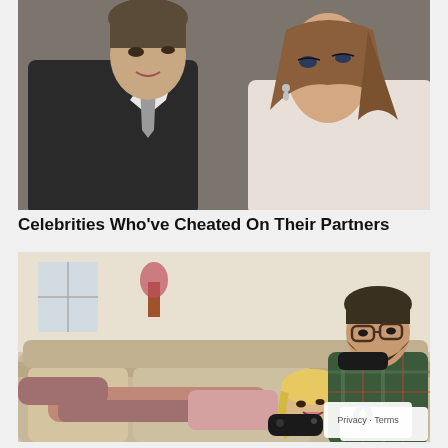[Figure (photo): Two people facing each other closely — a man in a dark suit and grey tie on the left, and a woman with brown hair on the right, against a blurred background.]
Celebrities Who've Cheated On Their Partners
[Figure (photo): A couple relaxing on a couch playing video games — a woman with blonde hair lying down holding a controller, and a bearded man with glasses sitting behind her also holding a controller.]